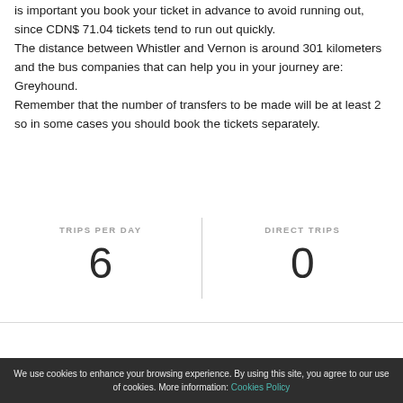is important you book your ticket in advance to avoid running out, since CDN$ 71.04 tickets tend to run out quickly. The distance between Whistler and Vernon is around 301 kilometers and the bus companies that can help you in your journey are: Greyhound. Remember that the number of transfers to be made will be at least 2 so in some cases you should book the tickets separately.
| TRIPS PER DAY | DIRECT TRIPS |
| --- | --- |
| 6 | 0 |
We use cookies to enhance your browsing experience. By using this site, you agree to our use of cookies. More information: Cookies Policy